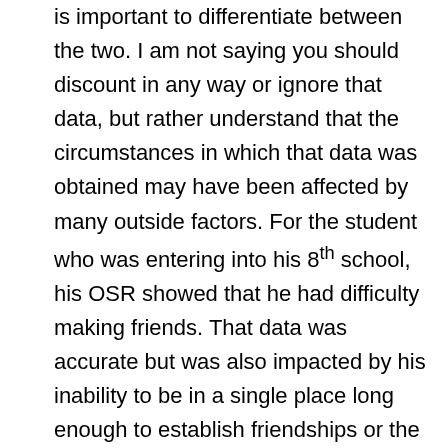is important to differentiate between the two. I am not saying you should discount in any way or ignore that data, but rather understand that the circumstances in which that data was obtained may have been affected by many outside factors. For the student who was entering into his 8th school, his OSR showed that he had difficulty making friends. That data was accurate but was also impacted by his inability to be in a single place long enough to establish friendships or the fact he knew if he did make friends, he would probably be moving soon.
The OSR search is most valuable to me for my at